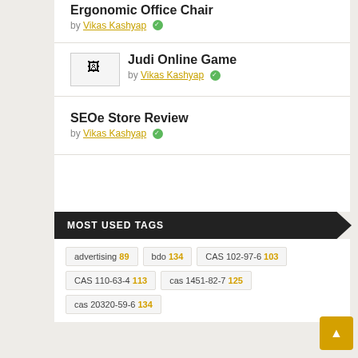Ergonomic Office Chair
by Vikas Kashyap ✓
[Figure (photo): Small thumbnail image placeholder for Judi Online Game post]
Judi Online Game
by Vikas Kashyap ✓
SEOe Store Review
by Vikas Kashyap ✓
MOST USED TAGS
advertising 89
bdo 134
CAS 102-97-6 103
CAS 110-63-4 113
cas 1451-82-7 125
cas 20320-59-6 134